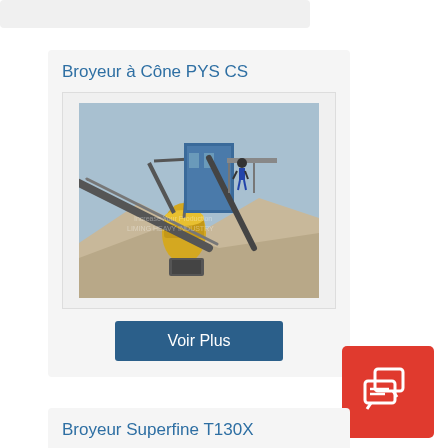Broyeur à Cône PYS CS
[Figure (photo): Industrial cone crusher (Broyeur à Cône PYS CS) installed at a quarry site with conveyor belts, steel structure, and a worker visible on the platform. Watermark text visible in background.]
Voir Plus
[Figure (illustration): Red square chat/message icon with speech bubble and document icons in white]
Broyeur Superfine T130X